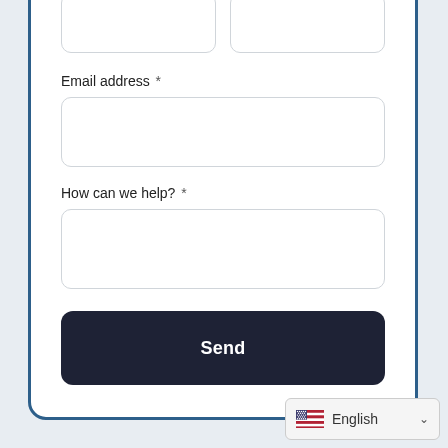[Figure (screenshot): Contact form UI with two cropped input fields at top, Email address field with asterisk, How can we help? field with asterisk, and a dark Send button]
Email address *
How can we help? *
Send
English